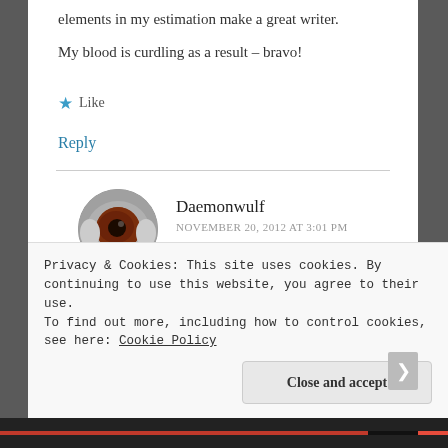elements in my estimation make a great writer.
My blood is curdling as a result – bravo!
Like
Reply
Daemonwulf
NOVEMBER 20, 2012 AT 3:01 PM
[Figure (photo): Circular avatar image of an eyeball with reddish-brown iris and dark pupil]
Why thank you Moondust Spreader. The fact
Privacy & Cookies: This site uses cookies. By continuing to use this website, you agree to their use.
To find out more, including how to control cookies, see here: Cookie Policy
Close and accept